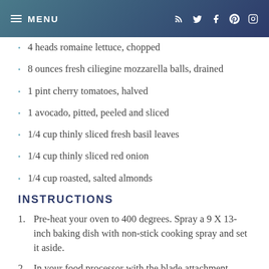MENU
4 heads romaine lettuce, chopped
8 ounces fresh ciliegine mozzarella balls, drained
1 pint cherry tomatoes, halved
1 avocado, pitted, peeled and sliced
1/4 cup thinly sliced fresh basil leaves
1/4 cup thinly sliced red onion
1/4 cup roasted, salted almonds
INSTRUCTIONS
Pre-heat your oven to 400 degrees. Spray a 9 X 13-inch baking dish with non-stick cooking spray and set it aside.
In your food processor with the blade attachment,